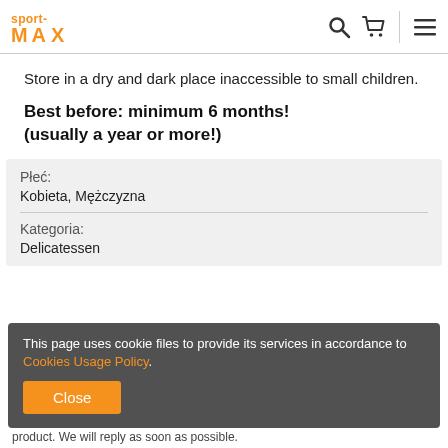sport-MAX
Store in a dry and dark place inaccessible to small children.
Best before: minimum 6 months! (usually a year or more!)
| Płeć: |  |
| Kobieta, Mężczyzna |  |
| Kategoria: |  |
| Delicatessen |  |
This page uses cookie files to provide its services in accordance to Cookies Usage Policy.
product. We will reply as soon as possible.